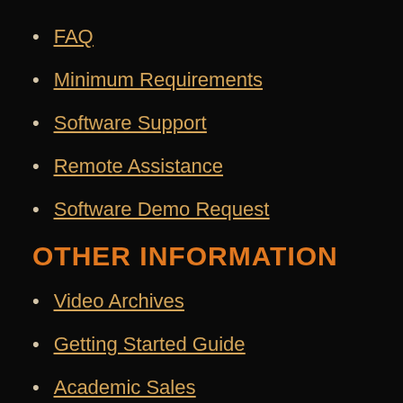FAQ
Minimum Requirements
Software Support
Remote Assistance
Software Demo Request
OTHER INFORMATION
Video Archives
Getting Started Guide
Academic Sales
International Sales
Article Database